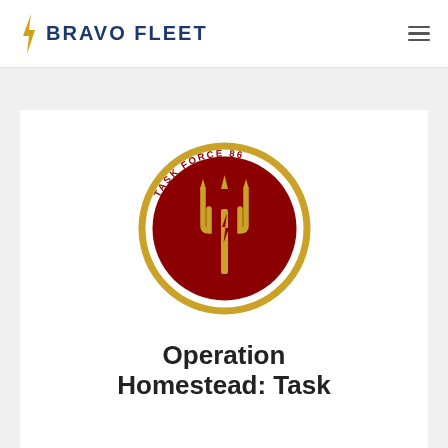BRAVO FLEET
[Figure (logo): Task Force 86 Fourth Fleet Command circular emblem: dark red/maroon background with gold trident and lightning bolt, gold border ring with text 'TASK FORCE 86' at top and 'FOURTH FLEET COMMAND' at bottom]
Operation Homestead: Task